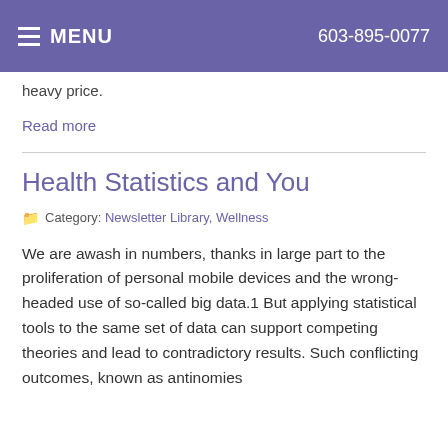MENU   603-895-0077
heavy price.
Read more
Health Statistics and You
Category: Newsletter Library, Wellness
We are awash in numbers, thanks in large part to the proliferation of personal mobile devices and the wrong-headed use of so-called big data.1 But applying statistical tools to the same set of data can support competing theories and lead to contradictory results. Such conflicting outcomes, known as antinomies